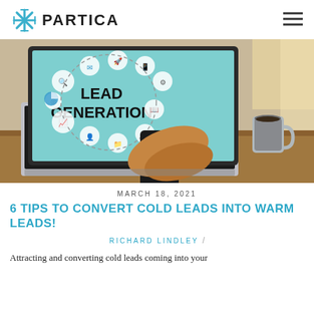PARTICA
[Figure (photo): Person using a smartphone in front of an open laptop displaying a 'Lead Generation' graphic with marketing icons on a teal background. A coffee cup is visible on a wooden desk beside the laptop.]
MARCH 18, 2021
6 TIPS TO CONVERT COLD LEADS INTO WARM LEADS!
RICHARD LINDLEY /
Attracting and converting cold leads coming into your